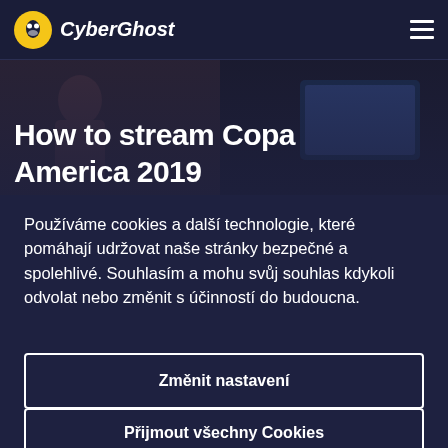CyberGhost
[Figure (screenshot): Hero image background showing dark scene with people and a screen, with large white bold text overlay reading 'How to stream Copa America 2019']
How to stream Copa America 2019
Používáme cookies a další technologie, které pomáhají udržovat naše stránky bezpečné a spolehlivé. Souhlasím a mohu svůj souhlas kdykoli odvolat nebo změnit s účinností do budoucna.
Změnit nastavení
Přijmout všechny Cookies